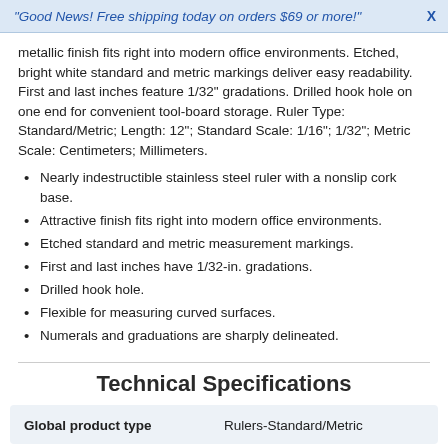"Good News! Free shipping today on orders $69 or more!"  X
metallic finish fits right into modern office environments. Etched, bright white standard and metric markings deliver easy readability. First and last inches feature 1/32" gradations. Drilled hook hole on one end for convenient tool-board storage. Ruler Type: Standard/Metric; Length: 12"; Standard Scale: 1/16"; 1/32"; Metric Scale: Centimeters; Millimeters.
Nearly indestructible stainless steel ruler with a nonslip cork base.
Attractive finish fits right into modern office environments.
Etched standard and metric measurement markings.
First and last inches have 1/32-in. gradations.
Drilled hook hole.
Flexible for measuring curved surfaces.
Numerals and graduations are sharply delineated.
Technical Specifications
| Global product type | Rulers-Standard/Metric |
| --- | --- |